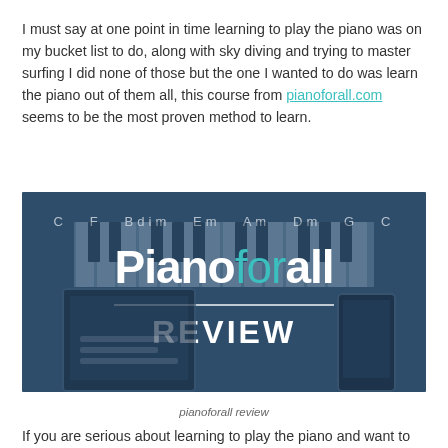I must say at one point in time learning to play the piano was on my bucket list to do, along with sky diving and trying to master surfing I did none of those but the one I wanted to do was learn the piano out of them all, this course from pianoforall.com seems to be the most proven method to learn.
[Figure (illustration): Pianoforall Review banner image with blue background, piano keyboard keys visible at top, text reading 'Pianoforall' (with 'for' in teal) and 'REVIEW' below a horizontal divider line, tablet and phone devices visible in background.]
pianoforall review
If you are serious about learning to play the piano and want to learn